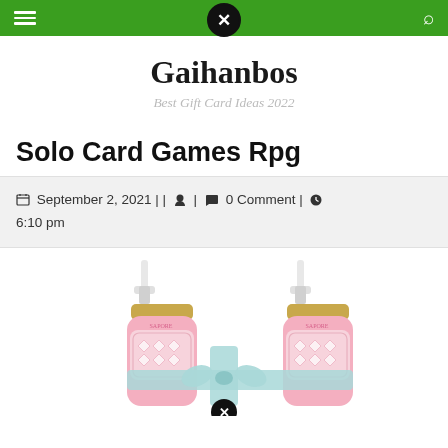Navigation bar with menu, close, and search icons
Gaihanbos
Best Gift Card Ideas 2022
Solo Card Games Rpg
September 2, 2021 || [user icon] | [comment icon] 0 Comment | [clock icon] 6:10 pm
[Figure (photo): Two pink pump-dispenser bottles with gold collars and decorative pink patterned labels, tied together with a light blue ribbon bow. The bottles contain a pink liquid (likely lotion or soap). The bottles are photographed on a white background.]